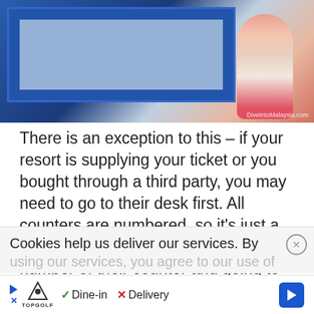[Figure (photo): Photo of a person at a ticket counter window with blue frames, watermark reads DiveIntoMalaysia.com]
There is an exception to this – if your resort is supplying your ticket or you bought through a third party, you may need to go to their desk first. All counters are numbered, so it's just a matter of making sure you know the number of their counter and going to that first. If you aren't sure, there are many people around who will help.
Cookies help us deliver our services. By using our services, you agree to our use of
▷  TOPGOLF  ✓ Dine-in  ✗ Delivery